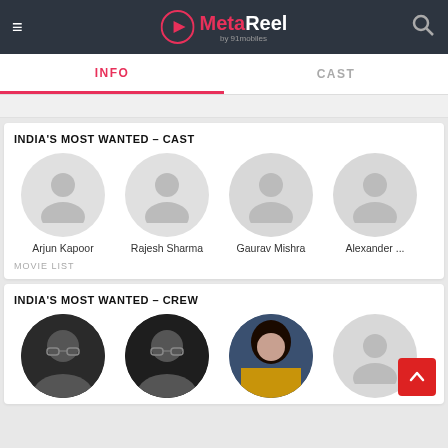MetaReel by 91mobiles
INFO | CAST
INDIA'S MOST WANTED – CAST
[Figure (illustration): Four circular avatar placeholders for cast members: Arjun Kapoor, Rajesh Sharma, Gaurav Mishra, Alexander...]
Arjun Kapoor   Rajesh Sharma   Gaurav Mishra   Alexander ...
MOVIE LIST
INDIA'S MOST WANTED – CREW
[Figure (photo): Four circular crew member photos, three with real photos and one placeholder avatar]